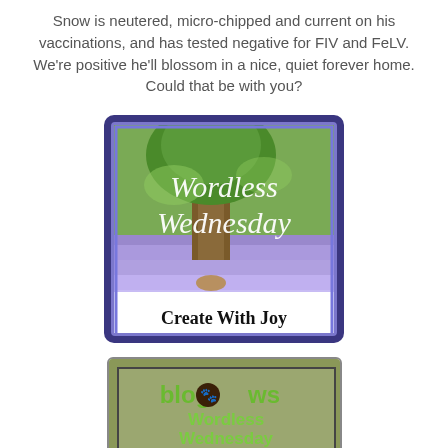Snow is neutered, micro-chipped and current on his vaccinations, and has tested negative for FIV and FeLV. We're positive he'll blossom in a nice, quiet forever home. Could that be with you?
[Figure (illustration): Wordless Wednesday badge by Create With Joy — purple-bordered image of a forest with bluebells, text 'Wordless Wednesday' in italic white script over the scene, and 'Create With Joy' in bold black at the bottom on a white bar.]
[Figure (illustration): BlogPaws Wordless Wednesday Blog Hop badge — mossy/leafy background with inner bordered frame showing 'blogpaws' in green with paw print logo, 'Wordless Wednesday' in green, 'Blog Hop' in brown.]